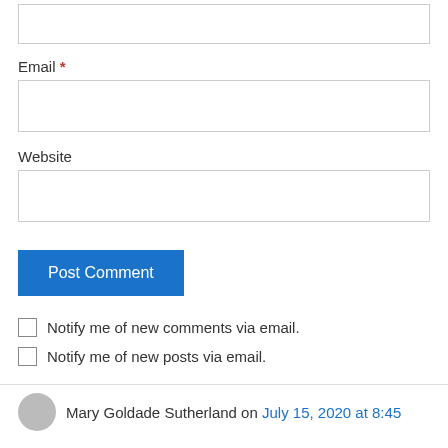[Figure (screenshot): Top portion of a form input box (text area, cut off at top)]
Email *
[Figure (screenshot): Email input text field]
Website
[Figure (screenshot): Website input text field]
Post Comment
Notify me of new comments via email.
Notify me of new posts via email.
Mary Goldade Sutherland on July 15, 2020 at 8:45